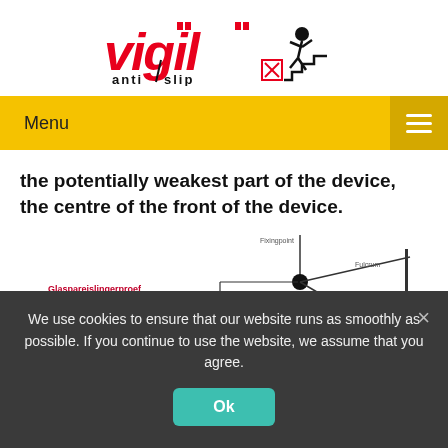[Figure (logo): Vigil Anti-Slip logo in red italic bold text with anti-slip text below, accompanied by a stick figure falling on stairs icon]
Menu
the potentially weakest part of the device, the centre of the front of the device.
[Figure (engineering-diagram): Technical diagram showing Glasspareislingerproef / Glasspearlswingtest / Glasperlenschaukelprüfung with a pendulum-like mechanism diagram showing a pivot point and swing arm with labels]
We use cookies to ensure that our website runs as smoothly as possible. If you continue to use the website, we assume that you agree.